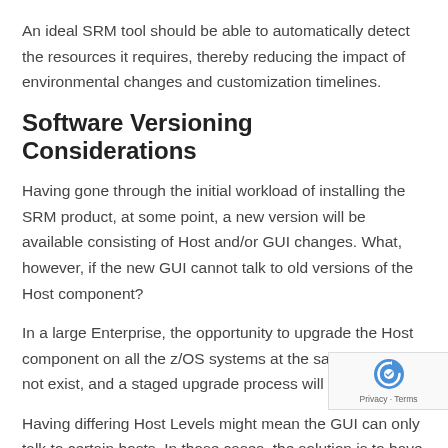An ideal SRM tool should be able to automatically detect the resources it requires, thereby reducing the impact of environmental changes and customization timelines.
Software Versioning Considerations
Having gone through the initial workload of installing the SRM product, at some point, a new version will be available consisting of Host and/or GUI changes. What, however, if the new GUI cannot talk to old versions of the Host component?
In a large Enterprise, the opportunity to upgrade the Host component on all the z/OS systems at the same time does not exist, and a staged upgrade process will occur.
Having differing Host Levels might mean the GUI can only talk to certain hosts. In those cases, the solution is to have multiple GUI versions, each talking to the hosts whose software version they support.